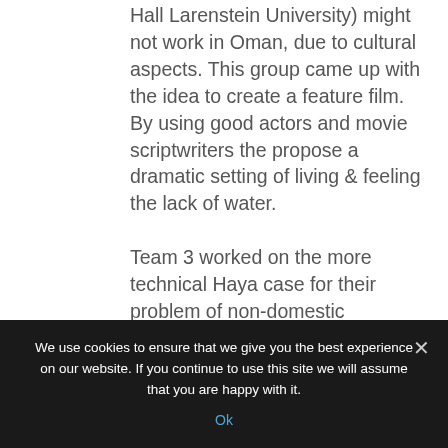Hall Larenstein University) might not work in Oman, due to cultural aspects. This group came up with the idea to create a feature film. By using good actors and movie scriptwriters the propose a dramatic setting of living & feeling the lack of water.
Team 3 worked on the more technical Haya case for their problem of non-domestic
We use cookies to ensure that we give you the best experience on our website. If you continue to use this site we will assume that you are happy with it.
Ok